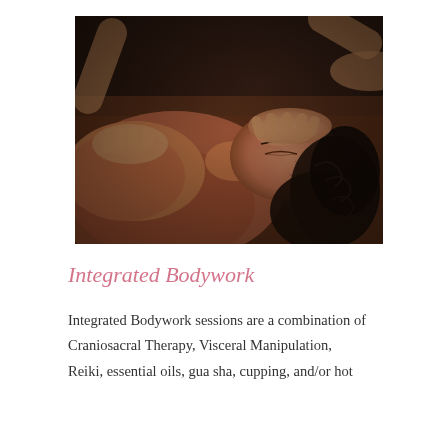[Figure (photo): A person lying down receiving a massage or craniosacral therapy treatment. A therapist's hands are visible on the person's head/forehead and shoulder area. The person has dark curly hair and appears relaxed with eyes closed. The image has warm, muted tones.]
Integrated Bodywork
Integrated Bodywork sessions are a combination of Craniosacral Therapy, Visceral Manipulation, Reiki, essential oils, gua sha, cupping, and/or hot